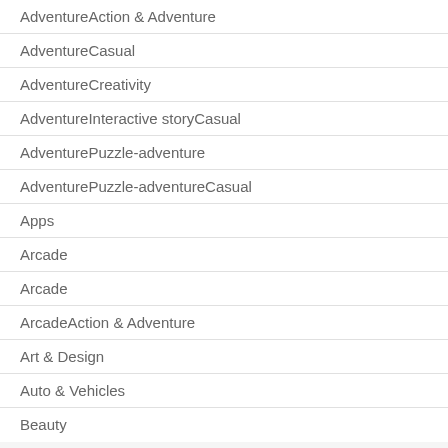AdventureAction & Adventure
AdventureCasual
AdventureCreativity
AdventureInteractive storyCasual
AdventurePuzzle-adventure
AdventurePuzzle-adventureCasual
Apps
Arcade
Arcade
ArcadeAction & Adventure
Art & Design
Auto & Vehicles
Beauty